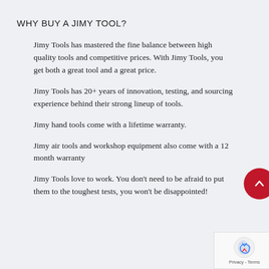WHY BUY A JIMY TOOL?
Jimy Tools has mastered the fine balance between high quality tools and competitive prices. With Jimy Tools, you get both a great tool and a great price.
Jimy Tools has 20+ years of innovation, testing, and sourcing experience behind their strong lineup of tools.
Jimy hand tools come with a lifetime warranty.
Jimy air tools and workshop equipment also come with a 12 month warranty
Jimy Tools love to work. You don't need to be afraid to put them to the toughest tests, you won't be disappointed!